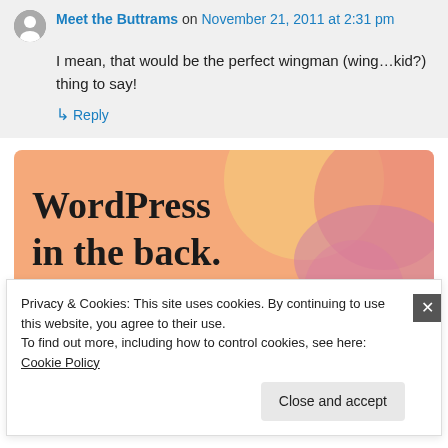Meet the Buttrams on November 21, 2011 at 2:31 pm
I mean, that would be the perfect wingman (wing…kid?) thing to say!
↳ Reply
[Figure (illustration): WordPress advertisement banner with colorful gradient background (orange, peach, pink) and decorative circles, text reads 'WordPress in the back.']
Privacy & Cookies: This site uses cookies. By continuing to use this website, you agree to their use.
To find out more, including how to control cookies, see here: Cookie Policy
Close and accept